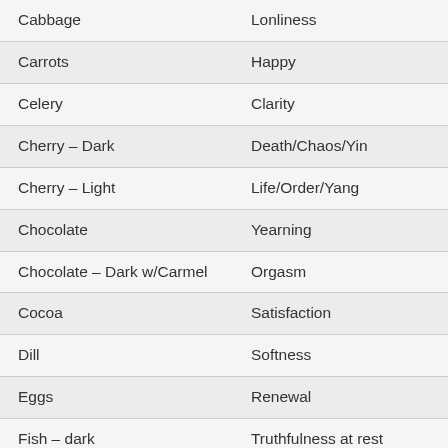| Food | Meaning |
| --- | --- |
| Cabbage | Lonliness |
| Carrots | Happy |
| Celery | Clarity |
| Cherry – Dark | Death/Chaos/Yin |
| Cherry – Light | Life/Order/Yang |
| Chocolate | Yearning |
| Chocolate – Dark w/Carmel | Orgasm |
| Cocoa | Satisfaction |
| Dill | Softness |
| Eggs | Renewal |
| Fish – dark | Truthfulness at rest |
| Fish – white | Truthfulness in motion |
| Ginger T… | Qi (energy)/or Global A… |